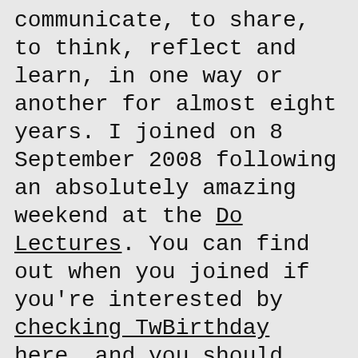communicate, to share, to think, reflect and learn, in one way or another for almost eight years. I joined on 8 September 2008 following an absolutely amazing weekend at the Do Lectures. You can find out when you joined if you're interested by checking TwBirthday here, and you should definitely take some time to check out the Do Lectures back catalogue if you've not seen any of them before. They state on their website People are different. Tuned different. We have to strike different chords to make our dreams sing. I'll come back to that in a bit.